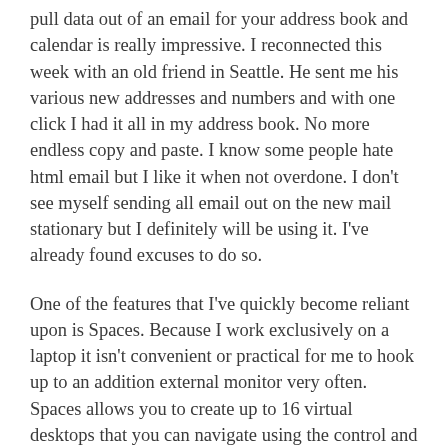pull data out of an email for your address book and calendar is really impressive.  I reconnected this week with an old friend in Seattle.  He sent me his various new addresses and numbers and with one click I had it all in my address book.  No more endless copy and paste.  I know some people hate html email but I like it when not overdone.  I don't see myself sending all email out on the new mail stationary but I definitely will be using it.  I've already found excuses to do so.
One of the features that I've quickly become reliant upon is Spaces.  Because I work exclusively on a laptop it isn't convenient or practical for me to hook up to an addition external monitor very often.  Spaces allows you to create up to 16 virtual desktops that you can navigate using the control and arrow keys.  I have four virtual screens on my machine in a grid of two by two.  One screen keeps my iCal and OmniFocus windows.  Another window holds my mail